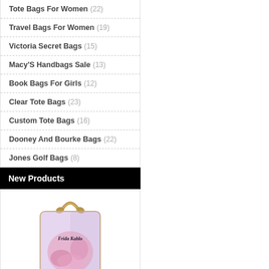Tote Bags For Women (22)
Travel Bags For Women (19)
Victoria Secret Bags (15)
Macy'S Handbags Sale (13)
Book Bags For Girls (12)
Clear Tote Bags (23)
Custom Tote Bags (16)
Dooney And Bourke Bags (22)
Jones Golf Bags (8)
New Products
[Figure (photo): A Frida Kahlo branded clear/pink iridescent small tote bag with gold chain strap and gold handle, displayed on white background]